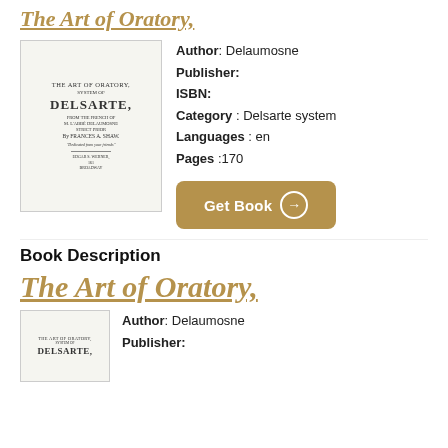The Art of Oratory
[Figure (illustration): Book cover of 'The Art of Oratory, System of Delsarte' by Frances A. Shaw, published by Edgar S. Werner]
Author: Delaumosne
Publisher:
ISBN:
Category: Delsarte system
Languages: en
Pages: 170
Get Book →
Book Description
The Art of Oratory
[Figure (illustration): Book cover thumbnail of 'The Art of Oratory, System of Delsarte']
Author: Delaumosne
Publisher: